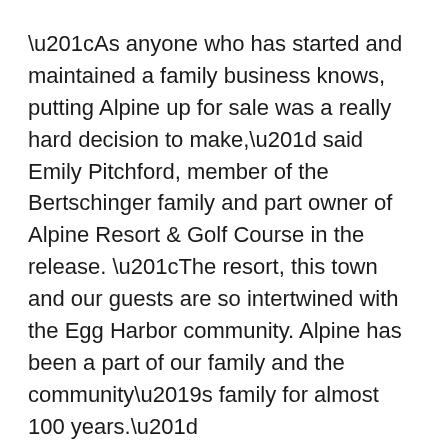“As anyone who has started and maintained a family business knows, putting Alpine up for sale was a really hard decision to make,” said Emily Pitchford, member of the Bertschinger family and part owner of Alpine Resort & Golf Course in the release. “The resort, this town and our guests are so intertwined with the Egg Harbor community. Alpine has been a part of our family and the community’s family for almost 100 years.”
While the property is listed for sale, it’s business as usual for guests planning on visiting Alpine. Alpine Golf opens its doors for the 2018 season on May 1 (weather permitting) and the resort opens on May 25.